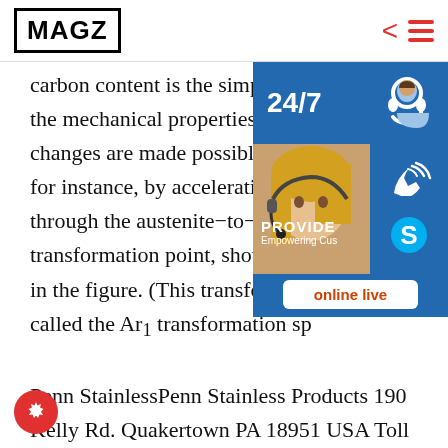MAGZ
carbon content is the simplest way to change the mechanical properties of steel. These changes are made possible by heat treatment, for instance, by accelerating the cooling rate through the austenite-to-ferrite transformation point, shown by the curve in the figure. (This transformation is also called the Ar1 transformation sp...
Penn StainlessPenn Stainless Products 190 Kelly Rd. Quakertown PA 18951 USA Toll Free:800-222-6144 Local:215-536-3053 Fax:215-536-3255 For a Quote:Quick Quote Jackson Center:102 McQuiston Drive Jackson
[Figure (infographic): Customer service overlay panel with 24/7 support badge, headset icon, photo of woman with headset, phone icon, Skype icon, PROVIDE Empowering Customers text, and online live button]